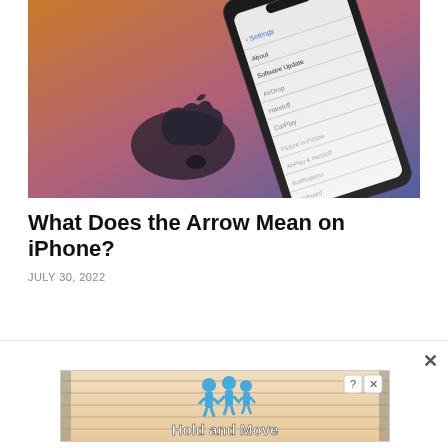[Figure (photo): iPhone showing Settings/Software Update menu screen, placed on a surface with Apple logo visible in background, warm amber/purple gradient background]
What Does the Arrow Mean on iPhone?
JULY 30, 2022
[Figure (infographic): Advertisement banner reading 'Hold and Move' with cartoon blue human figures and a striped background, with a question mark and X button in top right corner]